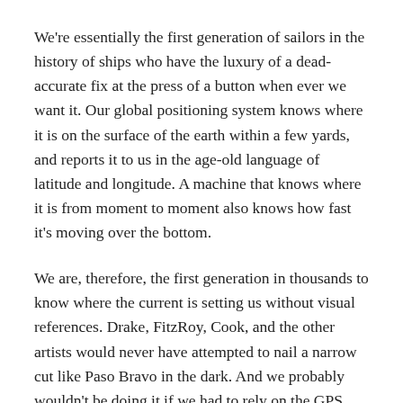We're essentially the first generation of sailors in the history of ships who have the luxury of a dead-accurate fix at the press of a button when ever we want it. Our global positioning system knows where it is on the surface of the earth within a few yards, and reports it to us in the age-old language of latitude and longitude. A machine that knows where it is from moment to moment also knows how fast it's moving over the bottom.
We are, therefore, the first generation in thousands to know where the current is setting us without visual references. Drake, FitzRoy, Cook, and the other artists would never have attempted to nail a narrow cut like Paso Bravo in the dark. And we probably wouldn't be doing it if we had to rely on the GPS alone, since, as Hamish said, the chart isn't all that accurate.